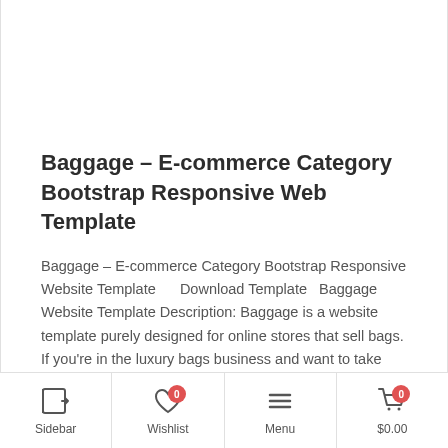Baggage – E-commerce Category Bootstrap Responsive Web Template
Baggage – E-commerce Category Bootstrap Responsive Website Template     Download Template   Baggage Website Template Description: Baggage is a website template purely designed for online stores that sell bags. If you're in the luxury bags business and want to take your business online, this template is perfect for you. This an e-commerce web template…
Website Templates and WordPress Themes
Sidebar   Wishlist 0   Menu   $0.00 0